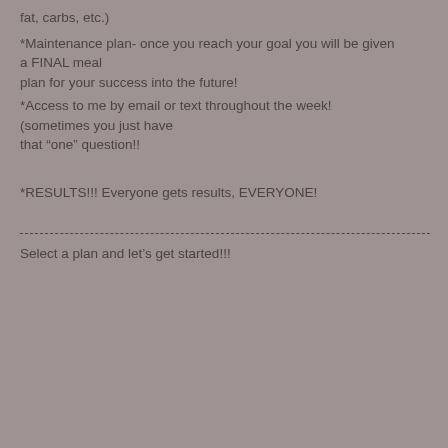fat, carbs, etc.)
*Maintenance plan- once you reach your goal you will be given a FINAL meal plan for your success into the future!
*Access to me by email or text throughout the week! (sometimes you just have that “one” question!!
*RESULTS!!! Everyone gets results, EVERYONE!
Select a plan and let’s get started!!!